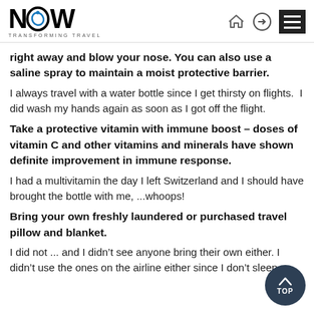NOW TRANSFORMING TRAVEL
right away and blow your nose. You can also use a saline spray to maintain a moist protective barrier.
I always travel with a water bottle since I get thirsty on flights.  I did wash my hands again as soon as I got off the flight.
Take a protective vitamin with immune boost – doses of vitamin C and other vitamins and minerals have shown definite improvement in immune response.
I had a multivitamin the day I left Switzerland and I should have brought the bottle with me, ...whoops!
Bring your own freshly laundered or purchased travel pillow and blanket.
I did not ... and I didn't see anyone bring their own either. I didn't use the ones on the airline either since I don't sleep on